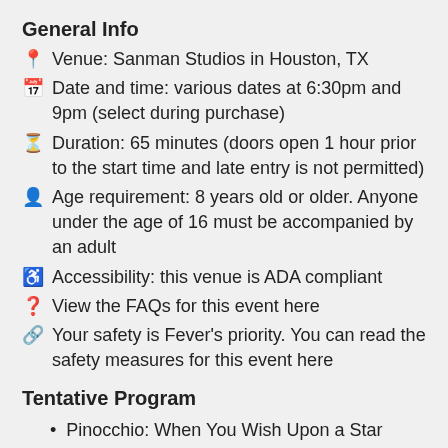General Info
📍 Venue: Sanman Studios in Houston, TX
📅 Date and time: various dates at 6:30pm and 9pm (select during purchase)
⏳ Duration: 65 minutes (doors open 1 hour prior to the start time and late entry is not permitted)
👤 Age requirement: 8 years old or older. Anyone under the age of 16 must be accompanied by an adult
♿ Accessibility: this venue is ADA compliant
❓ View the FAQs for this event here
🔗 Your safety is Fever's priority. You can read the safety measures for this event here
Tentative Program
Pinocchio: When You Wish Upon a Star
Lion King: The Circle of Life